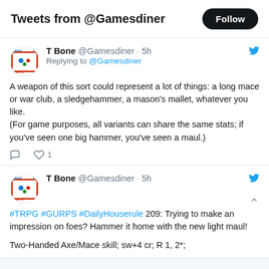Tweets from @Gamesdiner
T Bone @Gamesdiner · 5h
Replying to @Gamesdiner
A weapon of this sort could represent a lot of things: a long mace or war club, a sledgehammer, a mason's mallet, whatever you like.
(For game purposes, all variants can share the same stats; if you've seen one big hammer, you've seen a maul.)
T Bone @Gamesdiner · 5h
#TRPG #GURPS #DailyHouserule 209: Trying to make an impression on foes? Hammer it home with the new light maul!

Two-Handed Axe/Mace skill; sw+4 cr; R 1, 2*;